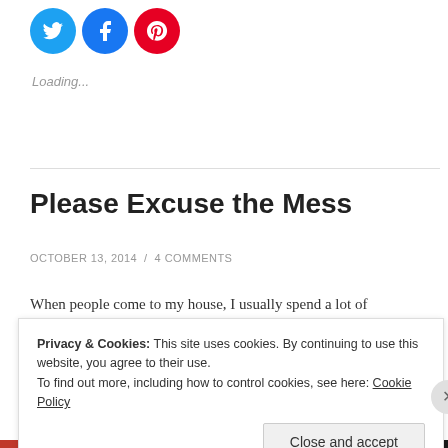[Figure (illustration): Three circular social sharing buttons: Twitter (blue), Facebook (blue), Pinterest (red), each with white icon]
Loading...
Please Excuse the Mess
OCTOBER 13, 2014 / 4 COMMENTS
When people come to my house, I usually spend a lot of
Privacy & Cookies: This site uses cookies. By continuing to use this website, you agree to their use.
To find out more, including how to control cookies, see here: Cookie Policy
Close and accept